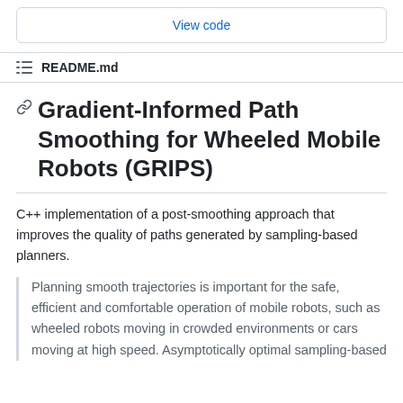View code
README.md
Gradient-Informed Path Smoothing for Wheeled Mobile Robots (GRIPS)
C++ implementation of a post-smoothing approach that improves the quality of paths generated by sampling-based planners.
Planning smooth trajectories is important for the safe, efficient and comfortable operation of mobile robots, such as wheeled robots moving in crowded environments or cars moving at high speed. Asymptotically optimal sampling-based